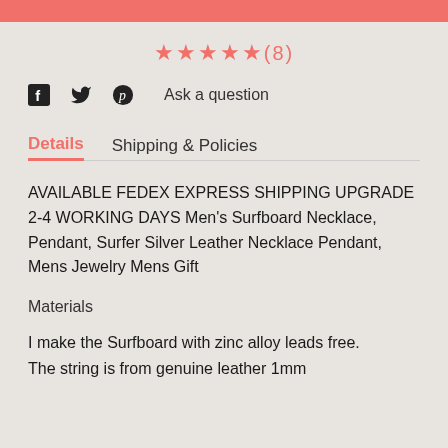★★★★★(8)
Facebook | Twitter | Pinterest   Ask a question
Details   Shipping & Policies
AVAILABLE FEDEX EXPRESS SHIPPING UPGRADE 2-4 WORKING DAYS Men's Surfboard Necklace, Pendant, Surfer Silver Leather Necklace Pendant, Mens Jewelry Mens Gift
Materials
I make the Surfboard with zinc alloy leads free.
The string is from genuine leather 1mm